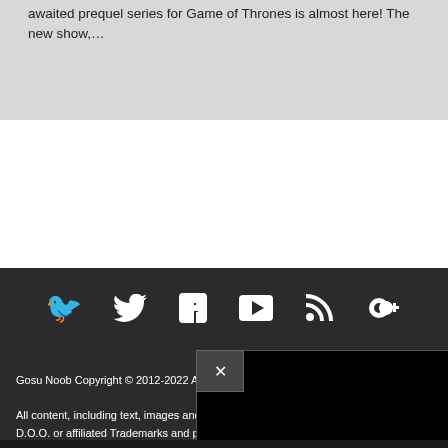awaited prequel series for Game of Thrones is almost here! The new show,…
[Figure (other): Social media icons row: Twitter, Facebook, YouTube, RSS, Google+ in white on dark background]
Gosu Noob Copyright © 2012-2022 All R…
All content, including text, images and oth… D.O.O. or affiliated Trademarks and protec… noted. The gosunoob.com content may not… express written consent of gosunoob.com
[Figure (screenshot): Black video/modal overlay with close button (×)]